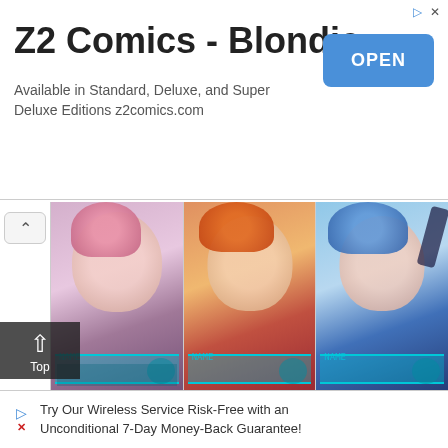[Figure (screenshot): Advertisement banner for Z2 Comics - Blondie with OPEN button]
Z2 Comics - Blondie
Available in Standard, Deluxe, and Super Deluxe Editions z2comics.com
[Figure (screenshot): Yu-Gi-Oh character selection row showing Trey, Anna Kaboom, and Rio Kastle with cyan game UI frames]
Trey
Anna Kaboom
Rio Kastle
How to beat/farm Legendary Duelists Lvl 40
| [Zexal] Legendary Duelists Lvl 40 |
| --- |
| Yuma a... |  | lvl 40 |
[Figure (screenshot): Zexal Legendary Duelists grid with anime character cards: Yuma, green-haired girl, orange character]
Yuma a
lvl 40
[Figure (screenshot): Bottom advertisement: Try Our Wireless Service Risk-Free with an Unconditional 7-Day Money-Back Guarantee!]